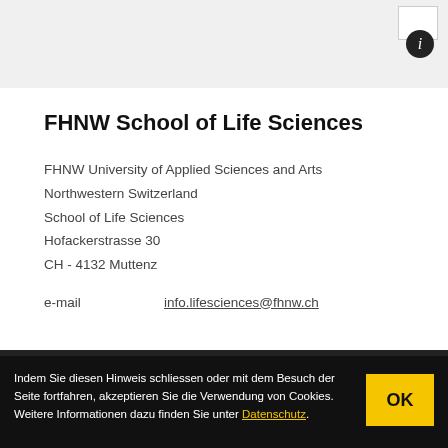[Figure (screenshot): Top gray bar with white box and info button (circle with 'i') in upper right]
FHNW School of Life Sciences
FHNW University of Applied Sciences and Arts
Northwestern Switzerland
School of Life Sciences
Hofackerstrasse 30
CH - 4132 Muttenz
e-mail	info.lifesciences@fhnw.ch
Indem Sie diesen Hinweis schliessen oder mit dem Besuch der Seite fortfahren, akzeptieren Sie die Verwendung von Cookies. Weitere Informationen dazu finden Sie unter Datenschutz.